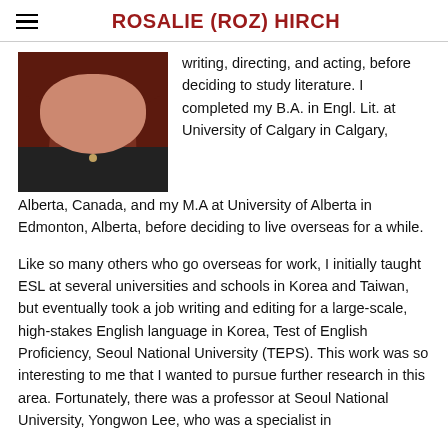ROSALIE (ROZ) HIRCH
[Figure (photo): Profile photo of Rosalie (Roz) Hirch, a woman with reddish-brown curly hair, wearing a dark top and necklace.]
writing, directing, and acting, before deciding to study literature. I completed my B.A. in Engl. Lit. at University of Calgary in Calgary, Alberta, Canada, and my M.A at University of Alberta in Edmonton, Alberta, before deciding to live overseas for a while.
Like so many others who go overseas for work, I initially taught ESL at several universities and schools in Korea and Taiwan, but eventually took a job writing and editing for a large-scale, high-stakes English language in Korea, Test of English Proficiency, Seoul National University (TEPS). This work was so interesting to me that I wanted to pursue further research in this area. Fortunately, there was a professor at Seoul National University, Yongwon Lee, who was a specialist in